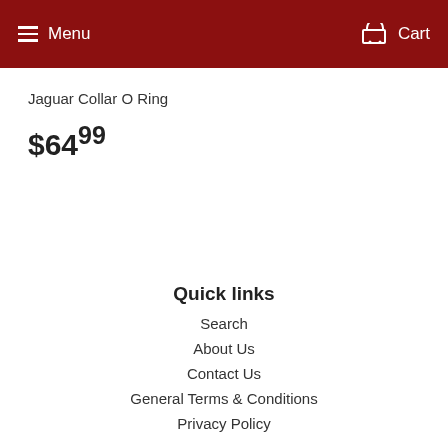Menu  Cart
Jaguar Collar O Ring
$64.99
Quick links
Search
About Us
Contact Us
General Terms & Conditions
Privacy Policy